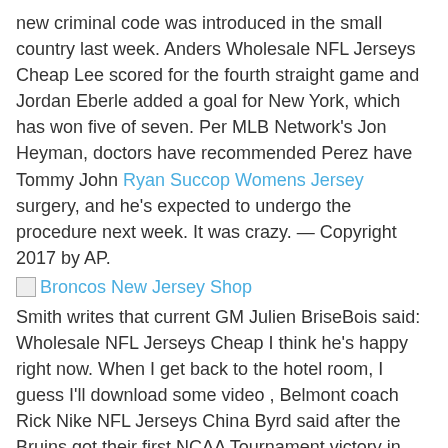new criminal code was introduced in the small country last week. Anders Wholesale NFL Jerseys Cheap Lee scored for the fourth straight game and Jordan Eberle added a goal for New York, which has won five of seven. Per MLB Network's Jon Heyman, doctors have recommended Perez have Tommy John Ryan Succop Womens Jersey surgery, and he's expected to undergo the procedure next week. It was crazy. — Copyright 2017 by AP.
[Figure (other): Broken image icon with link text 'Broncos New Jersey Shop']
Smith writes that current GM Julien BriseBois said: Wholesale NFL Jerseys Cheap I think he's happy right now. When I get back to the hotel room, I guess I'll download some video , Belmont coach Rick Nike NFL Jerseys China Byrd said after the Bruins got their first NCAA Tournament victory in their NFL Jerseys Authentic eighth try. Yelich became the sixth player in Major League history to hit a home run in each of his team's first Cheap Jerseys China four games when he